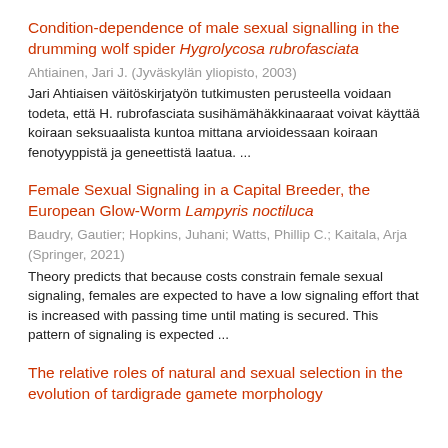Condition-dependence of male sexual signalling in the drumming wolf spider Hygrolycosa rubrofasciata
Ahtiainen, Jari J. (Jyväskylän yliopisto, 2003)
Jari Ahtiaisen väitöskirjatyön tutkimusten perusteella voidaan todeta, että H. rubrofasciata susihämähäkkinaaraat voivat käyttää koiraan seksuaalista kuntoa mittana arvioidessaan koiraan fenotyyppistä ja geneettistä laatua. ...
Female Sexual Signaling in a Capital Breeder, the European Glow-Worm Lampyris noctiluca
Baudry, Gautier; Hopkins, Juhani; Watts, Phillip C.; Kaitala, Arja
(Springer, 2021)
Theory predicts that because costs constrain female sexual signaling, females are expected to have a low signaling effort that is increased with passing time until mating is secured. This pattern of signaling is expected ...
The relative roles of natural and sexual selection in the evolution of tardigrade gamete morphology